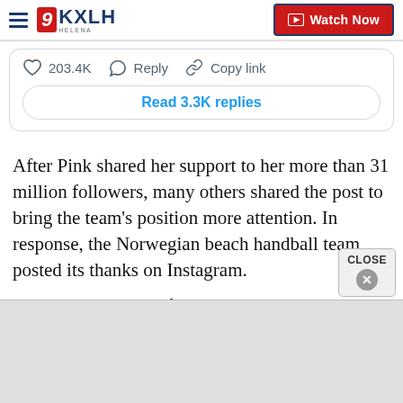9KXLH Helena — Watch Now
[Figure (screenshot): Tweet interaction bar showing heart icon with 203.4K likes, Reply button, Copy link button, and a 'Read 3.3K replies' button below.]
After Pink shared her support to her more than 31 million followers, many others shared the post to bring the team’s position more attention. In response, the Norwegian beach handball team posted its thanks on Instagram.
“Thank you so much for all the support,” they wro